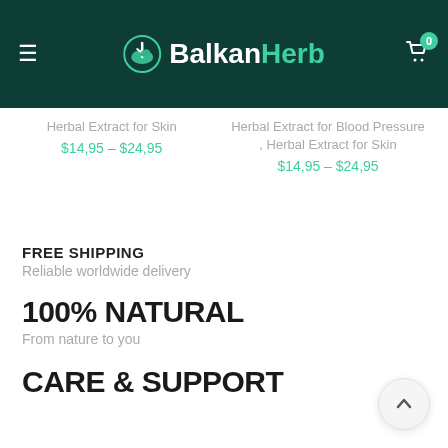BalkanHerb
Herbal Extract for Skin
$14,95 – $24,95
Herbal Extract for Blood Pressure , Herbal Extract for Skin
$14,95 – $24,95
FREE SHIPPING
Reliable worldwide delivery
100% NATURAL
From nature to you
CARE & SUPPORT